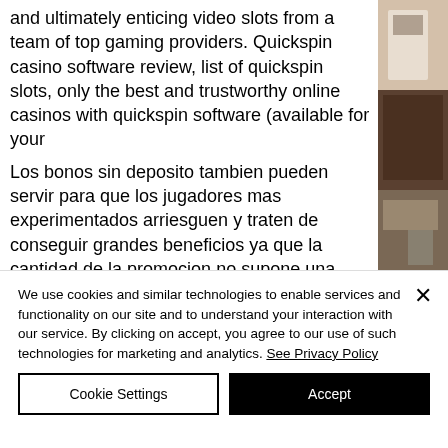and ultimately enticing video slots from a team of top gaming providers. Quickspin casino software review, list of quickspin slots, only the best and trustworthy online casinos with quickspin software (available for your
[Figure (photo): Partial photo of clothing/retail items on the right side of the page]
Los bonos sin deposito tambien pueden servir para que los jugadores mas experimentados arriesguen y traten de conseguir grandes beneficios ya que la cantidad de la promocion no supone una cantidad a tener en cuenta para ellos. Por
We use cookies and similar technologies to enable services and functionality on our site and to understand your interaction with our service. By clicking on accept, you agree to our use of such technologies for marketing and analytics. See Privacy Policy